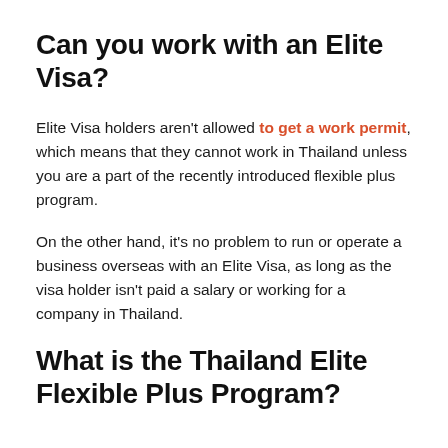Can you work with an Elite Visa?
Elite Visa holders aren't allowed to get a work permit, which means that they cannot work in Thailand unless you are a part of the recently introduced flexible plus program.
On the other hand, it's no problem to run or operate a business overseas with an Elite Visa, as long as the visa holder isn't paid a salary or working for a company in Thailand.
What is the Thailand Elite Flexible Plus Program?